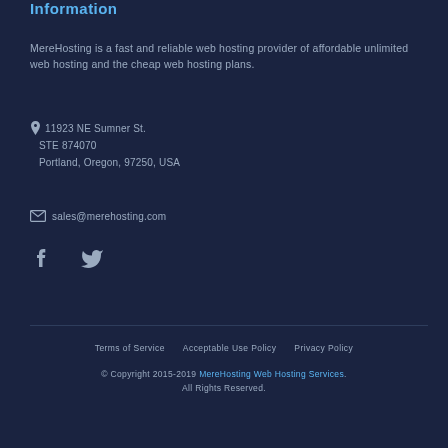Information
MereHosting is a fast and reliable web hosting provider of affordable unlimited web hosting and the cheap web hosting plans.
11923 NE Sumner St.
STE 874070
Portland, Oregon, 97250, USA
sales@merehosting.com
[Figure (other): Facebook and Twitter social media icons]
Terms of Service   Acceptable Use Policy   Privacy Policy
© Copyright 2015-2019 MereHosting Web Hosting Services. All Rights Reserved.